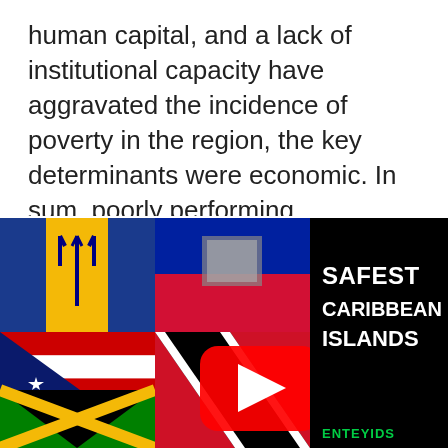human capital, and a lack of institutional capacity have aggravated the incidence of poverty in the region, the key determinants were economic. In sum, poorly performing economies within a global context of increased competition fed and sustained poverty in the Caribbean.
[Figure (illustration): A collage of Caribbean island flags (Barbados, Haiti, Puerto Rico, Jamaica, Trinidad and Tobago) with a YouTube play button overlay and text reading 'SAFEST CARIBBEAN ISLANDS' on a black background on the right side. Partially visible text at bottom right appears to say something related to a video channel.]